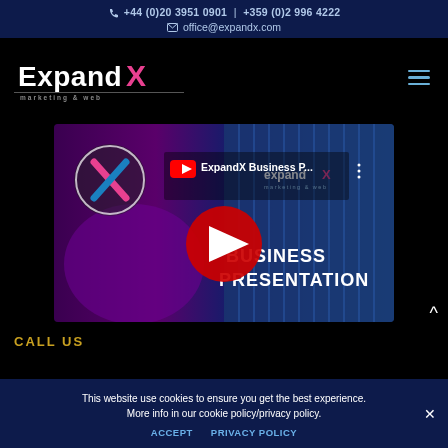+44 (0)20 3951 0901  |  +359 (0)2 996 4222
office@expandx.com
[Figure (logo): ExpandX marketing & web logo with stylized X in pink/blue/white]
[Figure (screenshot): YouTube video thumbnail for ExpandX Business Presentation with red play button, YouTube logo, ExpandX logo watermark, and text BUSINESS PRESENTATION on blue background]
CALL US
This website use cookies to ensure you get the best experience. More info in our cookie policy/privacy policy.
ACCEPT   PRIVACY POLICY